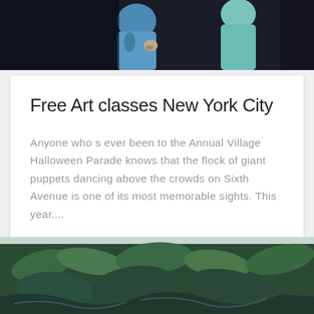[Figure (photo): Top portion of a photo showing people (silhouettes visible) against a dark background, partially cropped]
Free Art classes New York City
Anyone who s ever been to the Annual Village Halloween Parade knows that the flock of giant puppets dancing above the crowds on Sixth Avenue is one of its most memorable sights. This year....
READ MORE
[Figure (photo): Bottom portion of a photo showing green plants/foliage against a dark background, partially cropped at bottom of page]